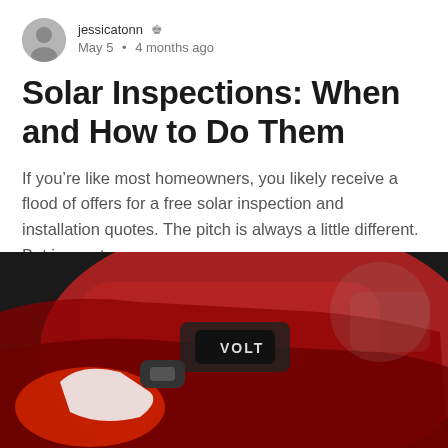jessicatonn ♛  May 5 • 4 months ago
Solar Inspections: When and How to Do Them
If you're like most homeowners, you likely receive a flood of offers for a free solar inspection and installation quotes. The pitch is always a little different. But in most...
[Figure (photo): Close-up photo of a person in a red jacket and white gloves plugging in a charging cable into a red Chevrolet Volt electric vehicle.]